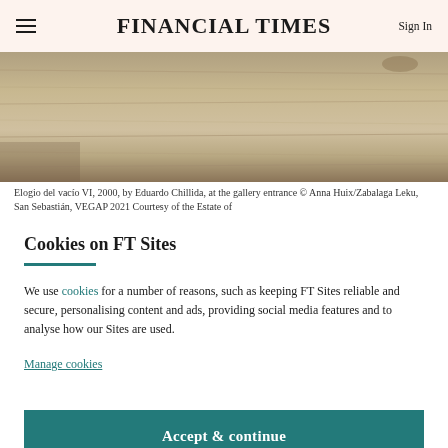FINANCIAL TIMES
[Figure (photo): Photograph of a wooden surface/table, partially visible, warm brown tones. Gallery artwork by Eduardo Chillida.]
Elogio del vacío VI, 2000, by Eduardo Chillida, at the gallery entrance © Anna Huix/Zabalaga Leku, San Sebastián, VEGAP 2021 Courtesy of the Estate of
Cookies on FT Sites
We use cookies for a number of reasons, such as keeping FT Sites reliable and secure, personalising content and ads, providing social media features and to analyse how our Sites are used.
Manage cookies
Accept & continue